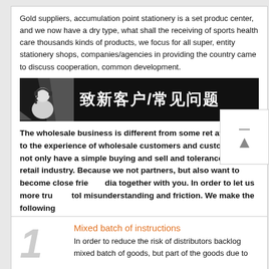Gold suppliers, accumulation point stationery is a set product center, and we now have a dry type, what shall the receiving of sports health care thousands kinds of products, we focus for all super, entity stationery shops, companies/agencies in providing the country came to discuss cooperation, common development.
[Figure (illustration): Black banner with a 3D figure wearing a headset on the left, and Chinese text '致新客户/常见问题' (To new customers / FAQ) in white bold characters on black background]
The wholesale business is different from some ret attention to the experience of wholesale customers and customers. We not only have a simple buying and sell and tolerance than the retail industry. Because we not partners, but also want to become close friends together with you. In order to let us more trusted, to misunderstanding and friction. We make the following
Mixed batch of instructions
In order to reduce the risk of distributors backlog mixed batch of goods, but part of the goods due to